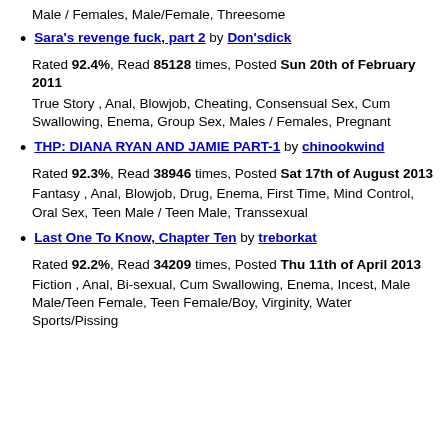Male / Females, Male/Female, Threesome
Sara's revenge fuck, part 2 by Don'sdick
Rated 92.4%, Read 85128 times, Posted Sun 20th of February 2011
True Story , Anal, Blowjob, Cheating, Consensual Sex, Cum Swallowing, Enema, Group Sex, Males / Females, Pregnant
THP: DIANA RYAN AND JAMIE PART-1 by chinookwind
Rated 92.3%, Read 38946 times, Posted Sat 17th of August 2013
Fantasy , Anal, Blowjob, Drug, Enema, First Time, Mind Control, Oral Sex, Teen Male / Teen Male, Transsexual
Last One To Know, Chapter Ten by treborkat
Rated 92.2%, Read 34209 times, Posted Thu 11th of April 2013
Fiction , Anal, Bi-sexual, Cum Swallowing, Enema, Incest, Male Male/Teen Female, Teen Female/Boy, Virginity, Water Sports/Pissing